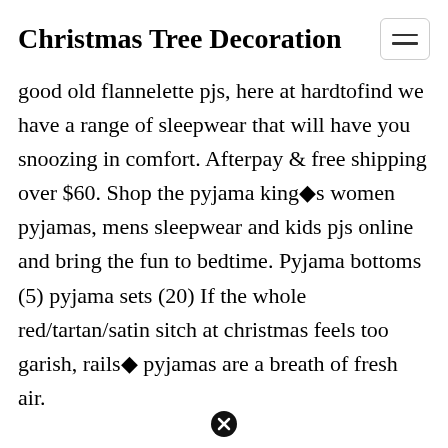Christmas Tree Decoration
good old flannelette pjs, here at hardtofind we have a range of sleepwear that will have you snoozing in comfort. Afterpay & free shipping over $60. Shop the pyjama king�s women pyjamas, mens sleepwear and kids pjs online and bring the fun to bedtime. Pyjama bottoms (5) pyjama sets (20) If the whole red/tartan/satin sitch at christmas feels too garish, rails� pyjamas are a breath of fresh air.